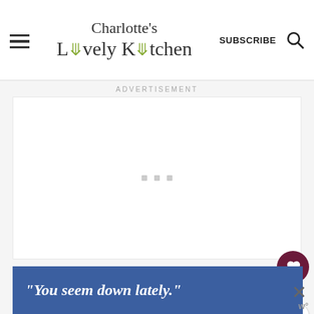Charlotte's Lively Kitchen | SUBSCRIBE
ADVERTISEMENT
[Figure (other): Empty advertisement loading area with three grey square loading dots]
[Figure (other): Social sidebar with heart/like button showing 1.3K and a share button]
[Figure (other): Blue advertisement banner with italic text: "You seem down lately." and a close X button with W logo]